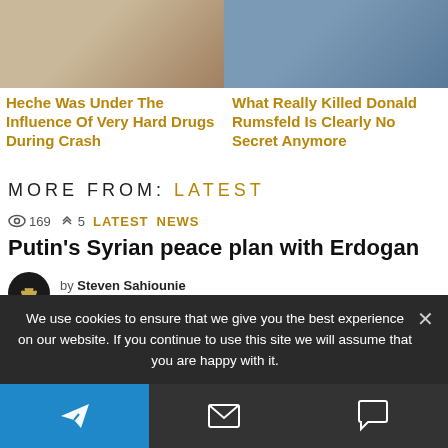[Figure (photo): Two cropped photos of people side by side at top of page]
Heche Was Under The Influence Of Very Hard Drugs During Crash
What Really Killed Donald Rumsfeld Is Clearly No Secret Anymore
MORE FROM: LATEST
169  5  LATEST NEWS
Putin's Syrian peace plan with Erdogan
by Steven Sahiounie
August 18, 2022
4  466  6  LATEST
We use cookies to ensure that we give you the best experience on our website. If you continue to use this site we will assume that you are happy with it.